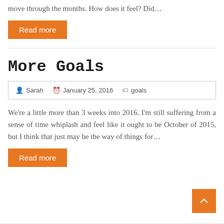move through the months. How does it feel? Did…
Read more
More Goals
Sarah   January 25, 2016   goals
We're a little more than 3 weeks into 2016. I'm still suffering from a sense of time whiplash and feel like it ought to be October of 2015, but I think that just may be the way of things for…
Read more